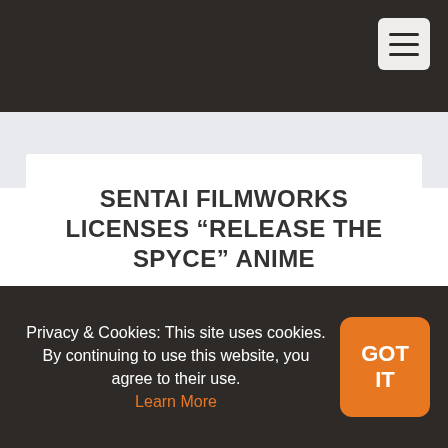SENTAI FILMWORKS LICENSES “RELEASE THE SPYCE” ANIME
Posted by Sentai | Posted on Sep 25, 2018 |
Privacy & Cookies: This site uses cookies. By continuing to use this website, you agree to their use. Learn More
GOT IT